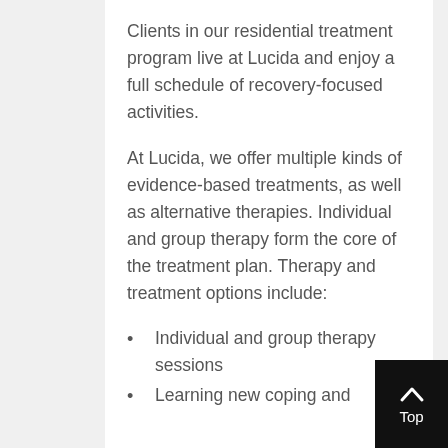Clients in our residential treatment program live at Lucida and enjoy a full schedule of recovery-focused activities.
At Lucida, we offer multiple kinds of evidence-based treatments, as well as alternative therapies. Individual and group therapy form the core of the treatment plan. Therapy and treatment options include:
Individual and group therapy sessions
Learning new coping and